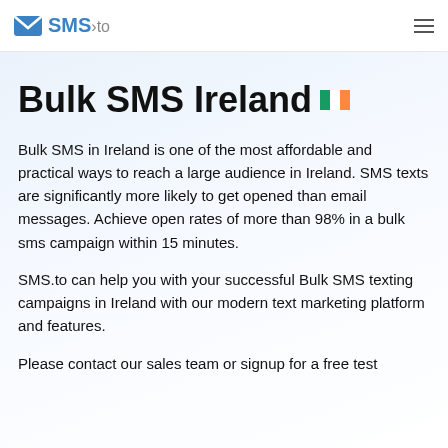SMS.to
Bulk SMS Ireland 🇮🇪
Bulk SMS in Ireland is one of the most affordable and practical ways to reach a large audience in Ireland. SMS texts are significantly more likely to get opened than email messages. Achieve open rates of more than 98% in a bulk sms campaign within 15 minutes.
SMS.to can help you with your successful Bulk SMS texting campaigns in Ireland with our modern text marketing platform and features.
Please contact our sales team or signup for a free test